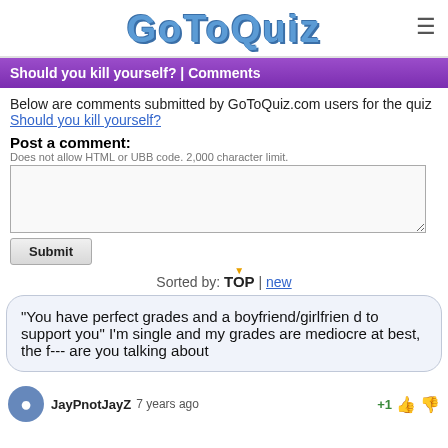GoToQuiz
Should you kill yourself? | Comments
Below are comments submitted by GoToQuiz.com users for the quiz Should you kill yourself?
Post a comment:
Does not allow HTML or UBB code. 2,000 character limit.
Sorted by: TOP | new
"You have perfect grades and a boyfriend/girlfrien d to support you" I'm single and my grades are mediocre at best, the f--- are you talking about
JayPnotJayZ 7 years ago +1